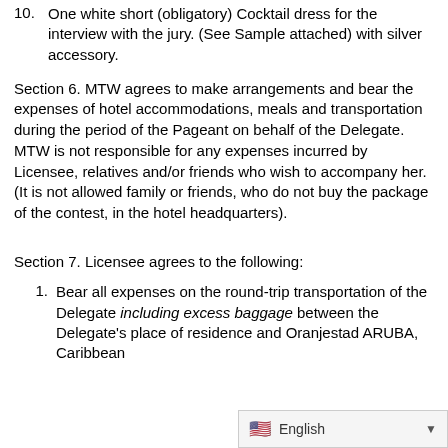10. One white short (obligatory) Cocktail dress for the interview with the jury. (See Sample attached) with silver accessory.
Section 6. MTW agrees to make arrangements and bear the expenses of hotel accommodations, meals and transportation during the period of the Pageant on behalf of the Delegate. MTW is not responsible for any expenses incurred by Licensee, relatives and/or friends who wish to accompany her. (It is not allowed family or friends, who do not buy the package of the contest, in the hotel headquarters).
Section 7. Licensee agrees to the following:
1. Bear all expenses on the round-trip transportation of the Delegate including excess baggage between the Delegate's place of residence and Oranjestad ARUBA, Caribbean